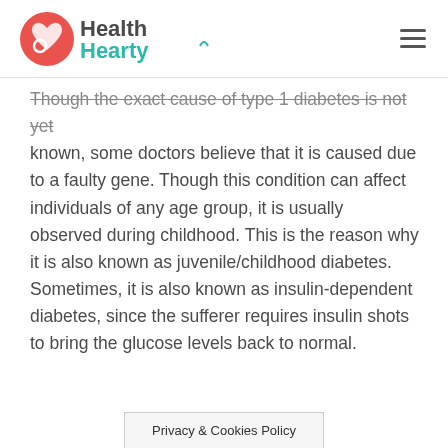HealthHearty
Though the exact cause of type 1 diabetes is not yet known, some doctors believe that it is caused due to a faulty gene. Though this condition can affect individuals of any age group, it is usually observed during childhood. This is the reason why it is also known as juvenile/childhood diabetes. Sometimes, it is also known as insulin-dependent diabetes, since the sufferer requires insulin shots to bring the glucose levels back to normal.
Privacy & Cookies Policy